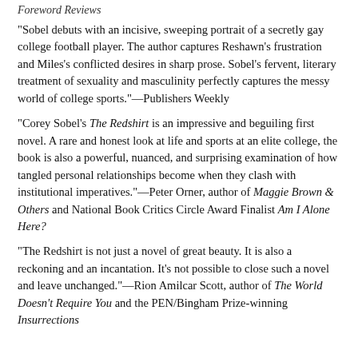Foreword Reviews
"Sobel debuts with an incisive, sweeping portrait of a secretly gay college football player. The author captures Reshawn's frustration and Miles's conflicted desires in sharp prose. Sobel's fervent, literary treatment of sexuality and masculinity perfectly captures the messy world of college sports."—Publishers Weekly
"Corey Sobel's The Redshirt is an impressive and beguiling first novel. A rare and honest look at life and sports at an elite college, the book is also a powerful, nuanced, and surprising examination of how tangled personal relationships become when they clash with institutional imperatives."—Peter Orner, author of Maggie Brown & Others and National Book Critics Circle Award Finalist Am I Alone Here?
"The Redshirt is not just a novel of great beauty. It is also a reckoning and an incantation. It's not possible to close such a novel and leave unchanged."—Rion Amilcar Scott, author of The World Doesn't Require You and the PEN/Bingham Prize-winning Insurrections